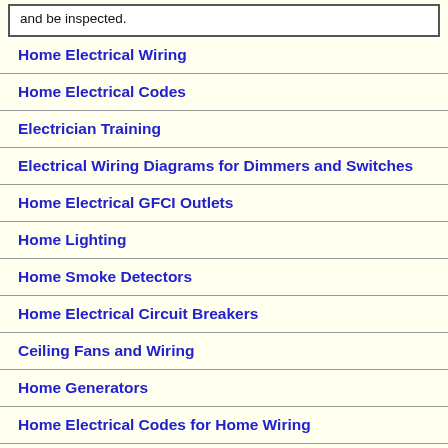and be inspected.
Home Electrical Wiring
Home Electrical Codes
Electrician Training
Electrical Wiring Diagrams for Dimmers and Switches
Home Electrical GFCI Outlets
Home Lighting
Home Smoke Detectors
Home Electrical Circuit Breakers
Ceiling Fans and Wiring
Home Generators
Home Electrical Codes for Home Wiring